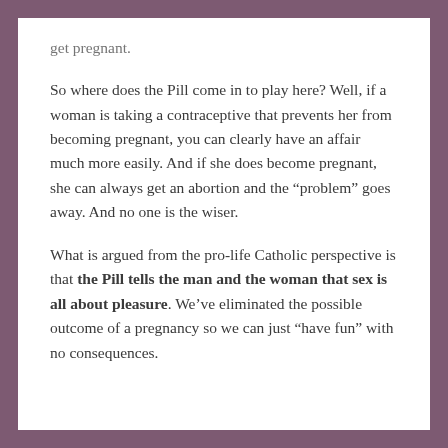get pregnant.
So where does the Pill come in to play here? Well, if a woman is taking a contraceptive that prevents her from becoming pregnant, you can clearly have an affair much more easily. And if she does become pregnant, she can always get an abortion and the “problem” goes away. And no one is the wiser.
What is argued from the pro-life Catholic perspective is that the Pill tells the man and the woman that sex is all about pleasure. We’ve eliminated the possible outcome of a pregnancy so we can just “have fun” with no consequences.